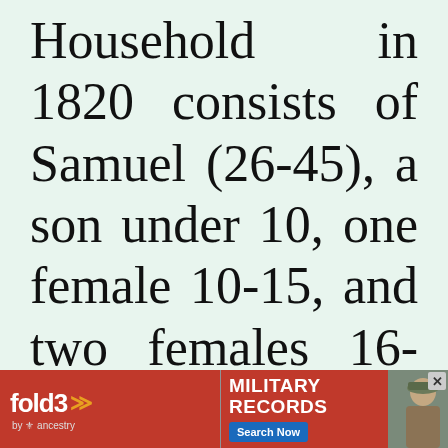Household in 1820 consists of Samuel (26-45), a son under 10, one female 10-15, and two females 16-25.
O... (partial text, cut off)
[Figure (other): Advertisement banner for fold3 by Ancestry - Military Records, Search Now button, with soldier photo]